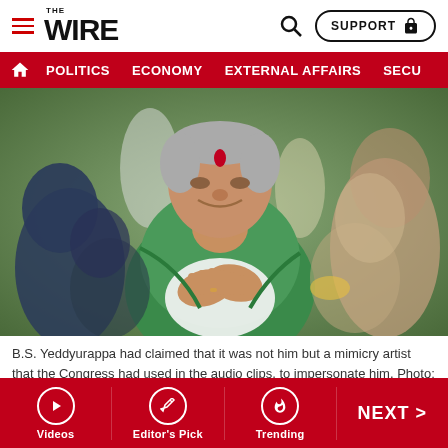THE WIRE
[Figure (screenshot): Navigation bar with POLITICS, ECONOMY, EXTERNAL AFFAIRS, SECU... menu items on red background]
[Figure (photo): B.S. Yeddyurappa in a green shawl with hands folded in namaste gesture, surrounded by people]
B.S. Yeddyurappa had claimed that it was not him but a mimicry artist that the Congress had used in the audio clips, to impersonate him. Photo: PTI
Kumaraswamy reportedly said that this point that
Videos | Editor's Pick | Trending | NEXT >